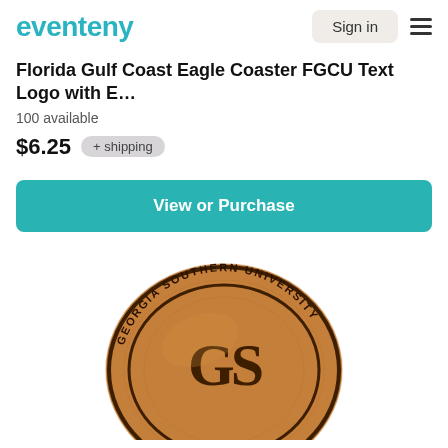eventeny
Florida Gulf Coast Eagle Coaster FGCU Text Logo with E...
100 available
$6.25  + shipping
View or Purchase
[Figure (photo): A round wooden coaster with 'Georgia Southern University' text around the border and 'GS' letters in the center, laser engraved on wood.]